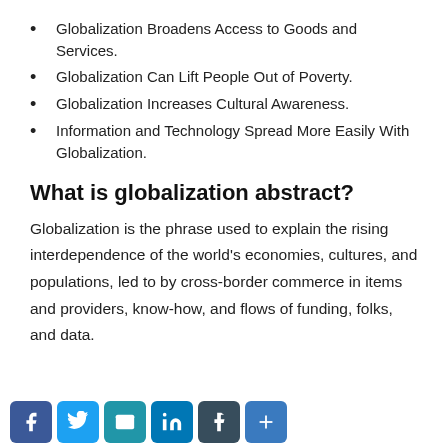Globalization Broadens Access to Goods and Services.
Globalization Can Lift People Out of Poverty.
Globalization Increases Cultural Awareness.
Information and Technology Spread More Easily With Globalization.
What is globalization abstract?
Globalization is the phrase used to explain the rising interdependence of the world’s economies, cultures, and populations, led to by cross-border commerce in items and providers, know-how, and flows of funding, folks, and data.